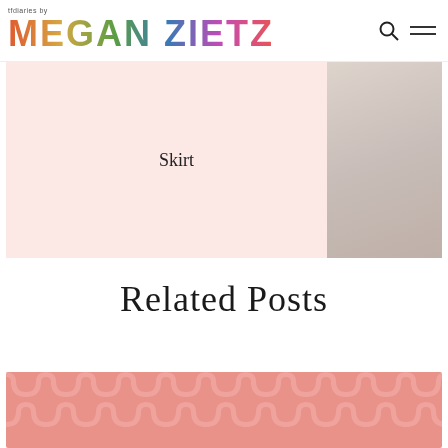tfdiaries by MEGAN ZIETZ
Skirt
[Figure (photo): Photo of person wearing a skirt]
Related Posts
[Figure (illustration): Pink decorative patterned background image for related posts]